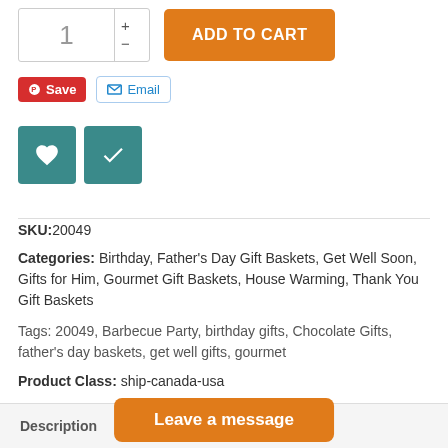[Figure (screenshot): E-commerce product page UI showing quantity selector with '1', plus/minus controls, and orange 'ADD TO CART' button]
[Figure (screenshot): Pinterest 'Save' button (red) and 'Email' button (white with blue border and envelope icon)]
[Figure (screenshot): Two teal square buttons: heart icon (wishlist) and checkmark icon]
SKU:20049
Categories: Birthday, Father's Day Gift Baskets, Get Well Soon, Gifts for Him, Gourmet Gift Baskets, House Warming, Thank You Gift Baskets
Tags: 20049, Barbecue Party, birthday gifts, Chocolate Gifts, father's day baskets, get well gifts, gourmet
Product Class: ship-canada-usa
Description
Leave a message